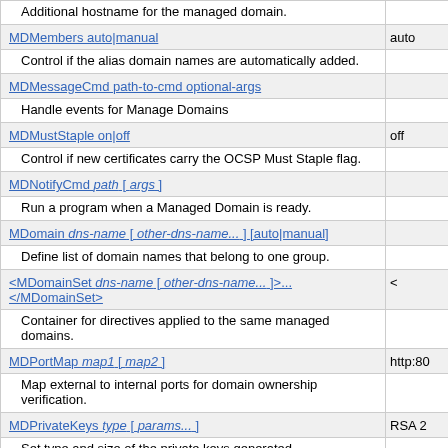| Directive | Default |
| --- | --- |
| Additional hostname for the managed domain. |  |
| MDMembers auto|manual | auto |
| Control if the alias domain names are automatically added. |  |
| MDMessageCmd path-to-cmd optional-args |  |
| Handle events for Manage Domains |  |
| MDMustStaple on|off | off |
| Control if new certificates carry the OCSP Must Staple flag. |  |
| MDNotifyCmd path [ args ] |  |
| Run a program when a Managed Domain is ready. |  |
| MDomain dns-name [ other-dns-name... ] [auto|manual] |  |
| Define list of domain names that belong to one group. |  |
| <MDomainSet dns-name [ other-dns-name... ]>... </MDomainSet> | < |
| Container for directives applied to the same managed domains. |  |
| MDPortMap map1 [ map2 ] | http:80 |
| Map external to internal ports for domain ownership verification. |  |
| MDPrivateKeys type [ params... ] | RSA 2 |
| Set type and size of the private keys generated. |  |
| MDRenewMode always|auto|manual | auto |
| Controls if certificates shall be renewed. |  |
| MDRenewWindow duration | 33% |
| Control when a certificate will be renewed. |  |